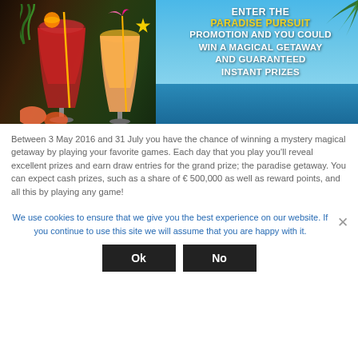[Figure (photo): Promotional banner for Paradise Pursuit promotion showing tropical drinks (cocktails) with a beach/ocean background. Text overlay reads: ENTER THE PARADISE PURSUIT PROMOTION AND YOU COULD WIN A MAGICAL GETAWAY AND GUARANTEED INSTANT PRIZES]
Between 3 May 2016 and 31 July you have the chance of winning a mystery magical getaway by playing your favorite games. Each day that you play you’ll reveal excellent prizes and earn draw entries for the grand prize; the paradise getaway. You can expect cash prizes, such as a share of € 500,000 as well as reward points, and all this by playing any game!
We use cookies to ensure that we give you the best experience on our website. If you continue to use this site we will assume that you are happy with it.